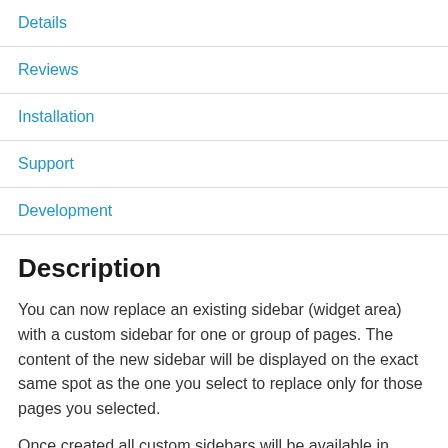Details
Reviews
Installation
Support
Development
Description
You can now replace an existing sidebar (widget area) with a custom sidebar for one or group of pages. The content of the new sidebar will be displayed on the exact same spot as the one you select to replace only for those pages you selected.
Once created all custom sidebars will be available in